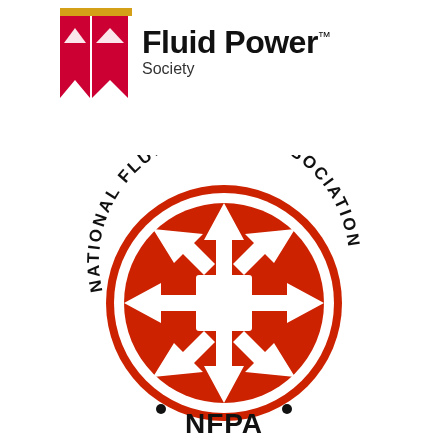[Figure (logo): Fluid Power Society logo: red ribbon/bookmark icon with gold accent at top, bold black text 'Fluid Power' with TM superscript, and 'Society' subtitle below]
[Figure (logo): National Fluid Power Association (NFPA) circular logo: red circle with white cross-arrow symbol, curved text 'NATIONAL FLUID POWER ASSOCIATION' around top arc, dots and bold 'NFPA' text at bottom]